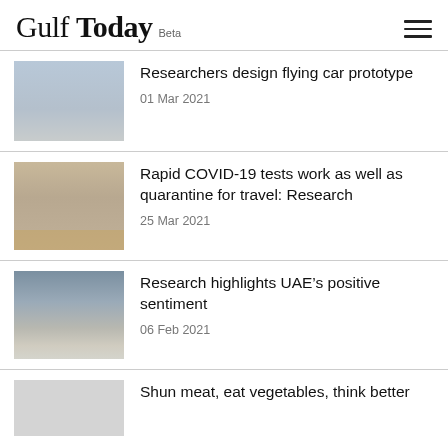Gulf Today Beta
Researchers design flying car prototype
01 Mar 2021
Rapid COVID-19 tests work as well as quarantine for travel: Research
25 Mar 2021
Research highlights UAE’s positive sentiment
06 Feb 2021
Shun meat, eat vegetables, think better